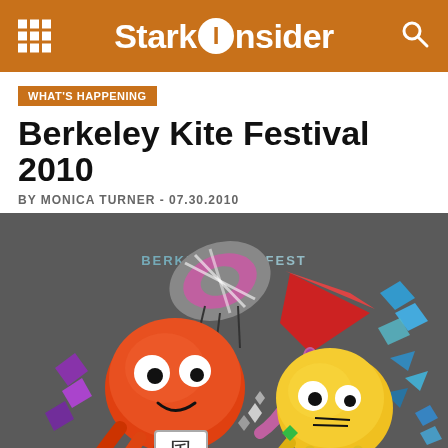StarkInsider
WHAT'S HAPPENING
Berkeley Kite Festival 2010
BY MONICA TURNER - 07.30.2010
[Figure (illustration): Berkeley Kite Fest promotional illustration showing two cartoon octopus characters (one orange-red, one yellow) surrounded by colorful kites and geometric shapes on a dark gray background. Text 'BERKELEYKITEFEST' visible in the upper center area.]